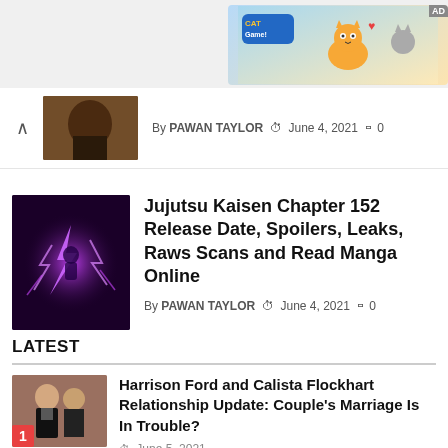[Figure (illustration): Cat game advertisement banner with cartoon cat characters and colorful background. AD label visible.]
[Figure (photo): Partial thumbnail of a dark anime character, possibly from a previous article.]
By PAWAN TAYLOR  June 4, 2021  0
[Figure (illustration): Jujutsu Kaisen anime art showing purple lightning energy effect on dark background.]
Jujutsu Kaisen Chapter 152 Release Date, Spoilers, Leaks, Raws Scans and Read Manga Online
By PAWAN TAYLOR  June 4, 2021  0
LATEST
[Figure (photo): Photo of Harrison Ford and Calista Flockhart at an event. Badge showing number 1.]
Harrison Ford and Calista Flockhart Relationship Update: Couple's Marriage Is In Trouble?
June 5, 2021